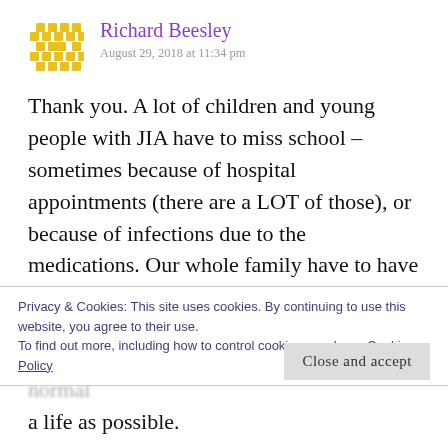Richard Beesley
August 29, 2018 at 11:34 pm
Thank you. A lot of children and young people with JIA have to miss school – sometimes because of hospital appointments (there are a LOT of those), or because of infections due to the medications. Our whole family have to have flu jabs each year so we don't get flu (hopefully) to protect our
Privacy & Cookies: This site uses cookies. By continuing to use this website, you agree to their use.
To find out more, including how to control cookies, see here: Cookie Policy
Close and accept
protect her whilst helping her have as normal a life as possible.